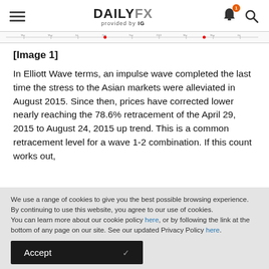DAILYFX provided by IG
[Figure (screenshot): Partial chart image strip showing a financial chart timeline with tick marks]
[Image 1]
In Elliott Wave terms, an impulse wave completed the last time the stress to the Asian markets were alleviated in August 2015. Since then, prices have corrected lower nearly reaching the 78.6% retracement of the April 29, 2015 to August 24, 2015 up trend. This is a common retracement level for a wave 1-2 combination. If this count works out,
We use a range of cookies to give you the best possible browsing experience. By continuing to use this website, you agree to our use of cookies.
You can learn more about our cookie policy here, or by following the link at the bottom of any page on our site. See our updated Privacy Policy here.